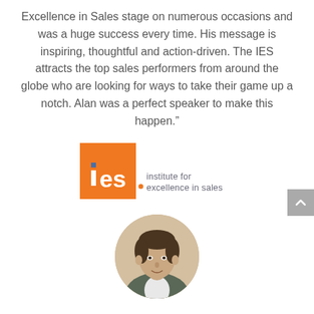Excellence in Sales stage on numerous occasions and was a huge success every time. His message is inspiring, thoughtful and action-driven. The IES attracts the top sales performers from around the globe who are looking for ways to take their game up a notch. Alan was a perfect speaker to make this happen.”
[Figure (logo): IES - Institute for Excellence in Sales logo: orange square with white 'ies' text and dot, followed by 'institute for excellence in sales' text in grey/blue]
[Figure (photo): Circular portrait photo of a man in a suit jacket, cropped at the bottom of the page]